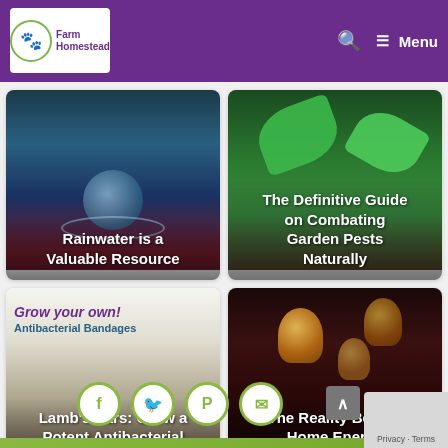Farm Homestead — Menu
[Figure (photo): Water droplet splashing in dark water with red flower]
Rainwater is a Valuable Resource
[Figure (photo): Green plant leaves with water droplets, dark background]
The Definitive Guide on Combating Garden Pests Naturally
[Figure (photo): Grow your own! Antibacterial Bandages — Lamb's Ears plant]
Lamb's Ears: Grow a Potent Antibacterial Bandage in Your...
[Figure (photo): Hanging incandescent light bulbs glowing in dark room]
The Reality Behind Home Energy Utilization
Privacy - Terms